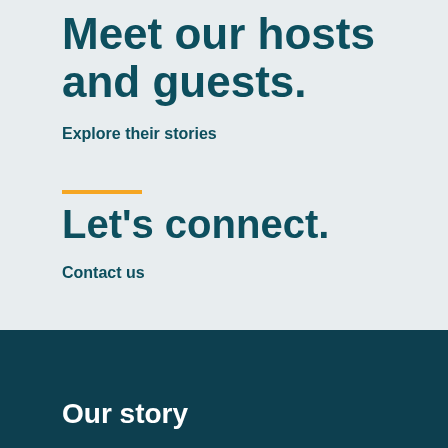Meet our hosts and guests.
Explore their stories
Let's connect.
Contact us
Our story